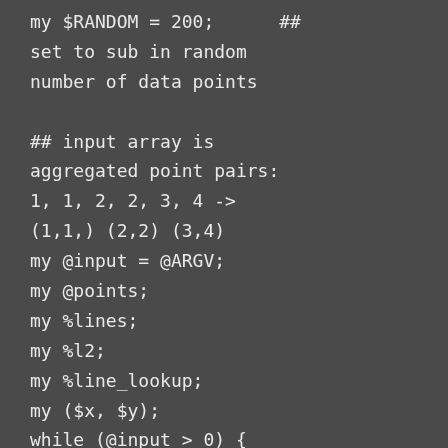my $RANDOM = 200;      ##
set to sub in random
number of data points

## input array is
aggregated point pairs:
1, 1, 2, 2, 3, 4 ->
(1,1,) (2,2) (3,4)
my @input = @ARGV;
my @points;
my %lines;
my %l2;
my %line_lookup;
my ($x, $y);
while (@input > 0) {
     ($x, $y, @input) =
@input;
     push @points, [$x,
$y];